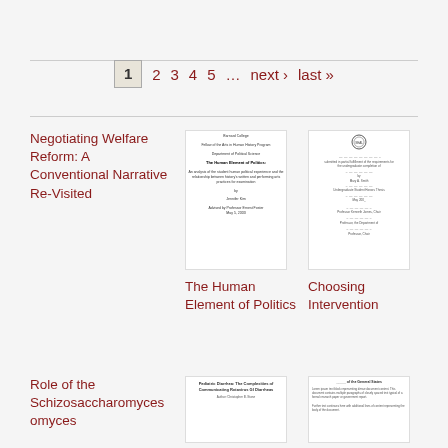1  2  3  4  5  ...  next >  last »
Negotiating Welfare Reform: A Conventional Narrative Re-Visited
[Figure (screenshot): Thumbnail of document cover: The Human Element of Politics]
[Figure (screenshot): Thumbnail of document: Choosing Intervention]
The Human Element of Politics
Choosing Intervention
Role of the Schizosaccharomyces
[Figure (screenshot): Thumbnail of document: Pediatric Diarrhea: The Complexities of Communicating Rotavirus GI Diarrheas]
[Figure (screenshot): Thumbnail of a document page with dense text]